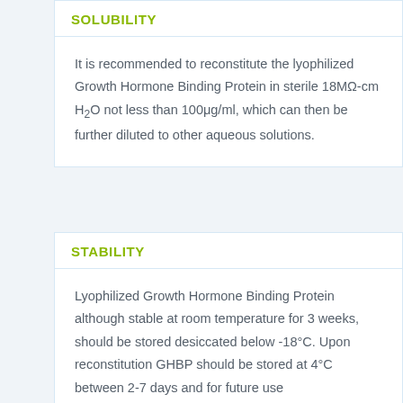SOLUBILITY
It is recommended to reconstitute the lyophilized Growth Hormone Binding Protein in sterile 18MΩ-cm H2O not less than 100μg/ml, which can then be further diluted to other aqueous solutions.
STABILITY
Lyophilized Growth Hormone Binding Protein although stable at room temperature for 3 weeks, should be stored desiccated below -18°C. Upon reconstitution GHBP should be stored at 4°C between 2-7 days and for future use